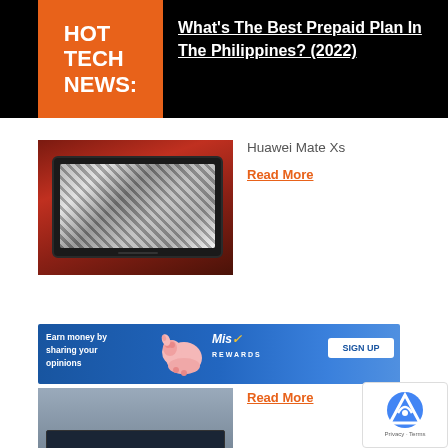HOT TECH NEWS:
What's The Best Prepaid Plan In The Philippines? (2022)
[Figure (photo): Huawei Mate Xs foldable phone/tablet on a red surface showing a black-and-white screen]
Huawei Mate Xs
Read More
[Figure (photo): Advertisement banner: Earn money by sharing your opinions - Miso Rewards SIGN UP, with laptop below]
Read More